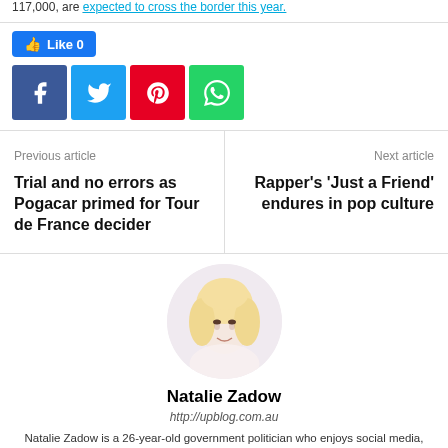117,000, are expected to cross the border this year.
[Figure (infographic): Social sharing buttons: Like 0 (Facebook like button), Facebook share, Twitter share, Pinterest share, WhatsApp share]
Previous article
Trial and no errors as Pogacar primed for Tour de France decider
Next article
Rapper's 'Just a Friend' endures in pop culture
[Figure (photo): Author photo of Natalie Zadow - blonde woman]
Natalie Zadow
http://upblog.com.au
Natalie Zadow is a 26-year-old government politician who enjoys social media,